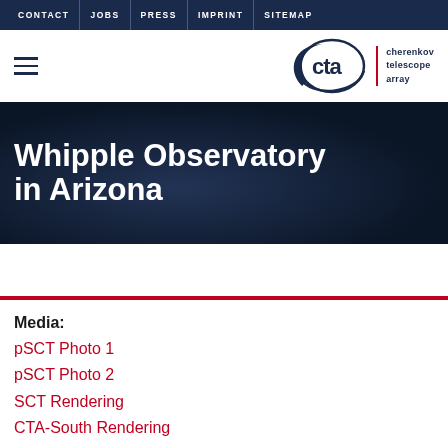CONTACT | JOBS | PRESS | IMPRINT | SITEMAP
[Figure (logo): CTA Cherenkov Telescope Array logo with circular arc graphic and text 'cherenkov telescope array']
Whipple Observatory in Arizona
Media:
pSCT Photo 1
pSCT Photo 2
SCT Rendering
CTA-South Rendering
SCT Source Video (partially visible)